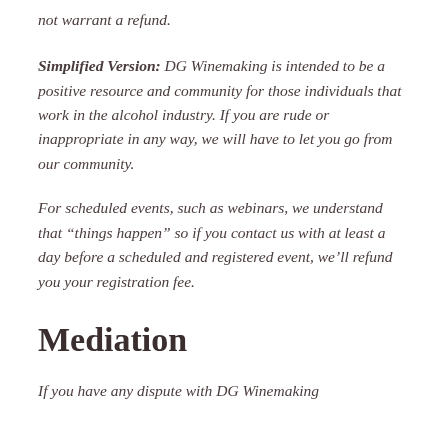not warrant a refund.
Simplified Version: DG Winemaking is intended to be a positive resource and community for those individuals that work in the alcohol industry. If you are rude or inappropriate in any way, we will have to let you go from our community.
For scheduled events, such as webinars, we understand that “things happen” so if you contact us with at least a day before a scheduled and registered event, we’ll refund you your registration fee.
Mediation
If you have any dispute with DG Winemaking